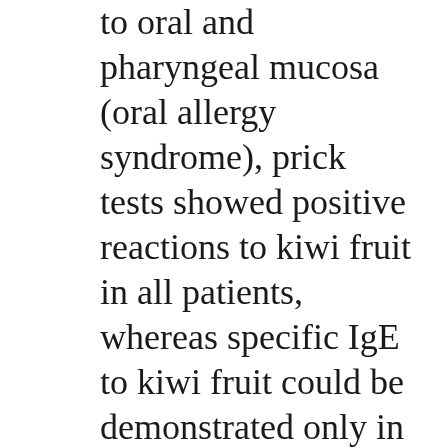to oral and pharyngeal mucosa (oral allergy syndrome), prick tests showed positive reactions to kiwi fruit in all patients, whereas specific IgE to kiwi fruit could be demonstrated only in patients with generalized severe symptoms. Surprisingly, all 22 patients with clinical kiwi allergy showed positive prick test results and elevated IgE